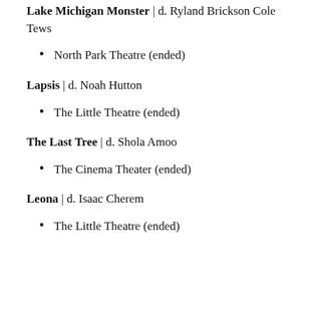Lake Michigan Monster | d. Ryland Brickson Cole Tews
North Park Theatre (ended)
Lapsis | d. Noah Hutton
The Little Theatre (ended)
The Last Tree | d. Shola Amoo
The Cinema Theater (ended)
Leona | d. Isaac Cherem
The Little Theatre (ended)